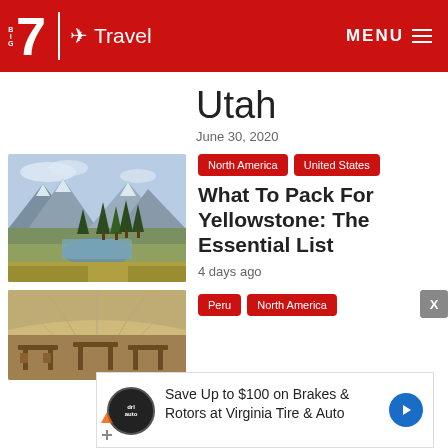BIG 7 Travel — MENU
Utah
June 30, 2020
[Figure (photo): Mountain lake landscape with pine trees and rocky peaks reflected in calm water]
North America  United States
What To Pack For Yellowstone: The Essential List
4 days ago
[Figure (photo): Interior of a grand building with arched glass ceiling and wooden furniture]
Peru  North America
Save Up to $100 on Brakes & Rotors at Virginia Tire & Auto